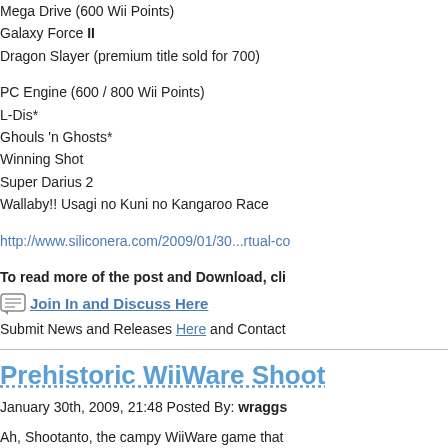Mega Drive (600 Wii Points)
Galaxy Force II
Dragon Slayer (premium title sold for 700)
PC Engine (600 / 800 Wii Points)
L-Dis*
Ghouls 'n Ghosts*
Winning Shot
Super Darius 2
Wallaby!! Usagi no Kuni no Kangaroo Race
http://www.siliconera.com/2009/01/30...rtual-co
To read more of the post and Download, cli
Join In and Discuss Here
Submit News and Releases Here and Contact
Prehistoric WiiWare Shoot
January 30th, 2009, 21:48 Posted By: wraggs
Ah, Shootanto, the campy WiiWare game that cheesy elements that made Shootanto memor generic looking soldiers.
Boooring!